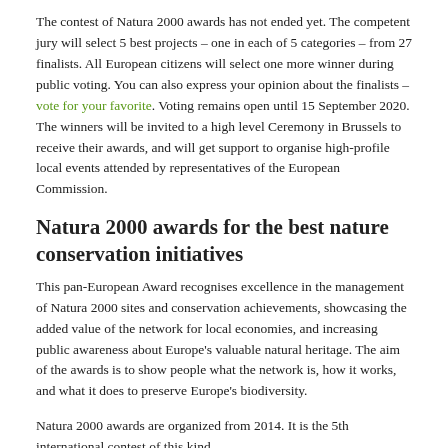The contest of Natura 2000 awards has not ended yet. The competent jury will select 5 best projects – one in each of 5 categories – from 27 finalists. All European citizens will select one more winner during public voting. You can also express your opinion about the finalists – vote for your favorite. Voting remains open until 15 September 2020. The winners will be invited to a high level Ceremony in Brussels to receive their awards, and will get support to organise high-profile local events attended by representatives of the European Commission.
Natura 2000 awards for the best nature conservation initiatives
This pan-European Award recognises excellence in the management of Natura 2000 sites and conservation achievements, showcasing the added value of the network for local economies, and increasing public awareness about Europe's valuable natural heritage. The aim of the awards is to show people what the network is, how it works, and what it does to preserve Europe's biodiversity.
Natura 2000 awards are organized from 2014. It is the 5th international contest of this kind.